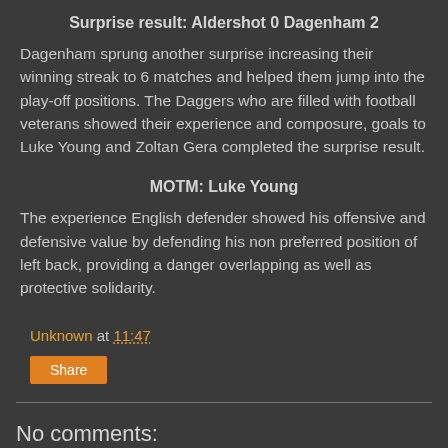Surprise result: Aldershot 0 Dagenham 2
Dagenham sprung another surprise increasing their winning streak to 6 matches and helped them jump into the play-off positions. The Daggers who are filled with football veterans showed their experience and composure, goals to Luke Young and Zoltan Gera completed the surprise result.
MOTM: Luke Young
The experience English defender showed his offensive and defensive value by defending his non preferred position of left back, providing a danger overlapping as well as protective solidarity.
Unknown at 11:47
Share
No comments:
Post a Comment